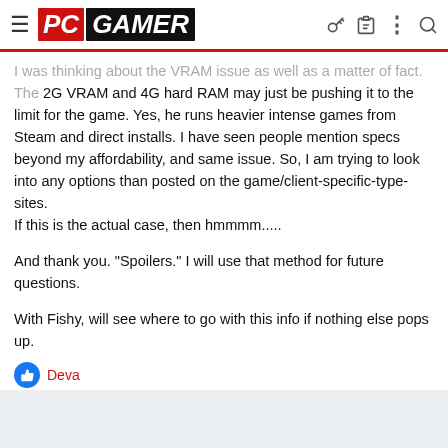PC GAMER
I was thinking about the VRAM issue as well as a matter of fact. The 2G VRAM and 4G hard RAM may just be pushing it to the limit for the game. Yes, he runs heavier intense games from Steam and direct installs. I have seen people mention specs beyond my affordability, and same issue. So, I am trying to look into any options than posted on the game/client-specific-type-sites.
If this is the actual case, then hmmmm.....
And thank you. "Spoilers." I will use that method for future questions.
With Fishy, will see where to go with this info if nothing else pops up.
Deva